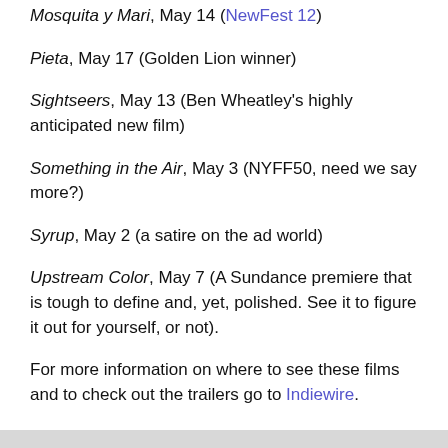Mosquita y Mari, May 14 (NewFest 12)
Pieta, May 17 (Golden Lion winner)
Sightseers, May 13 (Ben Wheatley's highly anticipated new film)
Something in the Air, May 3 (NYFF50, need we say more?)
Syrup, May 2 (a satire on the ad world)
Upstream Color, May 7 (A Sundance premiere that is tough to define and, yet, polished. See it to figure it out for yourself, or not).
For more information on where to see these films and to check out the trailers go to Indiewire.